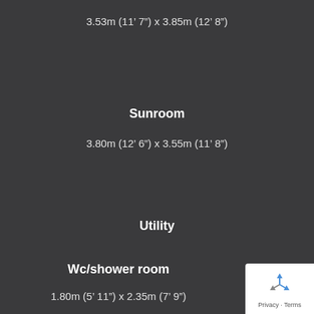3.53m (11’ 7”) x 3.85m (12’ 8”)
Sunroom
3.80m (12’ 6”) x 3.55m (11’ 8”)
Utility
Wc/shower room
1.80m (5’ 11”) x 2.35m (7’ 9”)
[Figure (logo): Google reCAPTCHA privacy badge with recycling arrows icon and Privacy - Terms text]